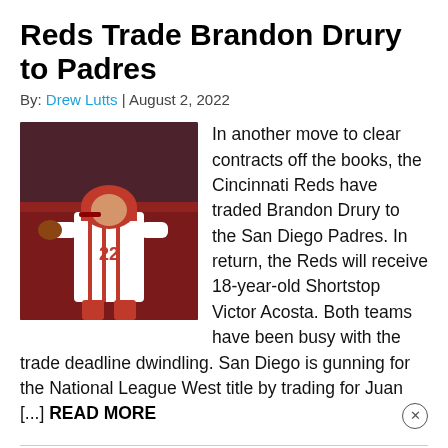Reds Trade Brandon Drury to Padres
By: Drew Lutts | August 2, 2022
[Figure (photo): Baseball player wearing Cincinnati Reds uniform number 22, running on the field]
In another move to clear contracts off the books, the Cincinnati Reds have traded Brandon Drury to the San Diego Padres. In return, the Reds will receive 18-year-old Shortstop Victor Acosta. Both teams have been busy with the trade deadline dwindling. San Diego is gunning for the National League West title by trading for Juan [...] READ MORE
Clevinger, Padres Silence